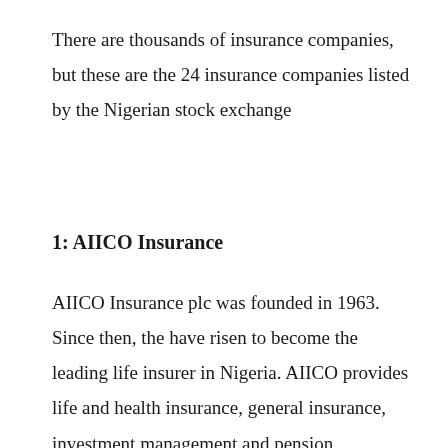There are thousands of insurance companies, but these are the 24 insurance companies listed by the Nigerian stock exchange
1: AIICO Insurance
AIICO Insurance plc was founded in 1963. Since then, the have risen to become the leading life insurer in Nigeria. AIICO provides life and health insurance, general insurance, investment management and pension management services as a means to create and protect